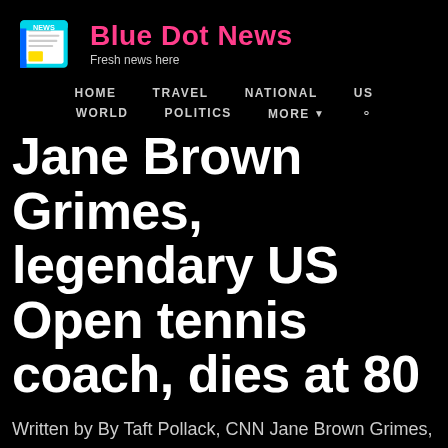Blue Dot News — Fresh news here
HOME   TRAVEL   NATIONAL   US
WORLD   POLITICS   MORE
Jane Brown Grimes, legendary US Open tennis coach, dies at 80
Written by By Taft Pollack, CNN Jane Brown Grimes, one of the sport's most groundbreaking figures, has died at the age of 80, her family told